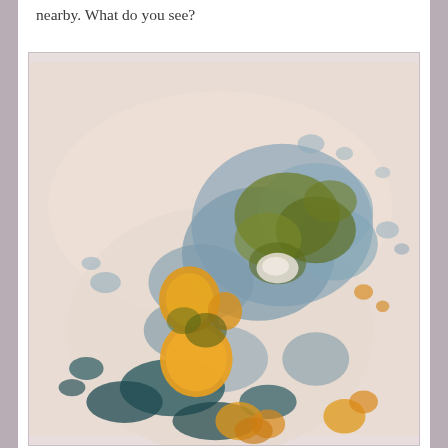nearby. What do you see?
[Figure (photo): Microscope image showing biological/algal matter with orange, blue-gray, and olive-green regions on a light beige background. Appears to be a microscopic view of algae or similar microorganisms with bright orange circular blobs and blue-green clustered masses.]